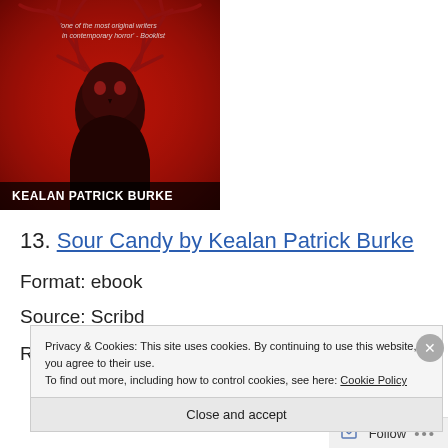[Figure (illustration): Book cover for a horror novel, red background with dark antlered skull figure, author name KEALAN PATRICK BURKE at bottom, quote text at top]
13. Sour Candy by Kealan Patrick Burke
Format: ebook
Source: Scribd
Privacy & Cookies: This site uses cookies. By continuing to use this website, you agree to their use.
To find out more, including how to control cookies, see here: Cookie Policy
Close and accept
Follow